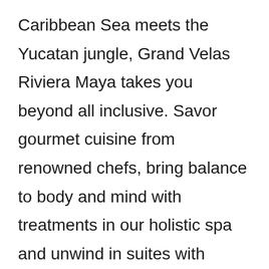Caribbean Sea meets the Yucatan jungle, Grand Velas Riviera Maya takes you beyond all inclusive. Savor gourmet cuisine from renowned chefs, bring balance to body and mind with treatments in our holistic spa and unwind in suites with private terraces, plunge pools, and uninhibited water views.

Find refuge on the white sand beach or lounge by the infinity pool, paired